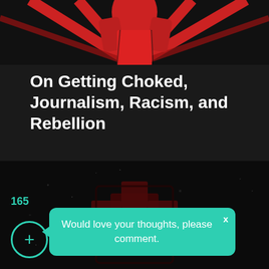[Figure (illustration): Top portion of a stylized illustration showing a figure in red against a dark background with red radiating lines]
On Getting Choked, Journalism, Racism, and Rebellion
[Figure (photo): Dark image showing a weathered cross-like emblem or symbol with reddish coloring against a dark grungy background]
165
Would love your thoughts, please comment.